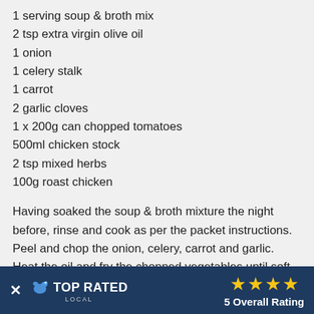1 serving soup & broth mix
2 tsp extra virgin olive oil
1 onion
1 celery stalk
1 carrot
2 garlic cloves
1 x 200g can chopped tomatoes
500ml chicken stock
2 tsp mixed herbs
100g roast chicken
Having soaked the soup & broth mixture the night before, rinse and cook as per the packet instructions. Peel and chop the onion, celery, carrot and garlic. Heat the oil and fry the chopped vegetables until soft, then add the prepared soup & broth mixture and fry for 2-3 minutes more. Add the tomatoes, stock, herbs and season to taste. Stir in the chicken. Simmer for 30 minutes, adding more water if the mixture gets too thick.
https://www.we